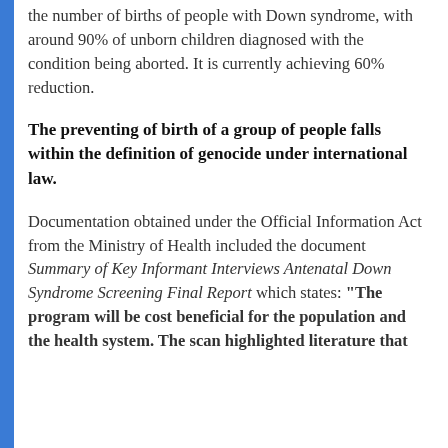the number of births of people with Down syndrome, with around 90% of unborn children diagnosed with the condition being aborted. It is currently achieving 60% reduction.
The preventing of birth of a group of people falls within the definition of genocide under international law.
Documentation obtained under the Official Information Act from the Ministry of Health included the document Summary of Key Informant Interviews Antenatal Down Syndrome Screening Final Report which states: "The program will be cost beneficial for the population and the health system. The scan highlighted literature that